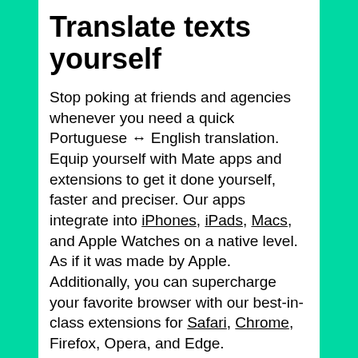Translate texts yourself
Stop poking at friends and agencies whenever you need a quick Portuguese ↔ English translation. Equip yourself with Mate apps and extensions to get it done yourself, faster and preciser. Our apps integrate into iPhones, iPads, Macs, and Apple Watches on a native level. As if it was made by Apple. Additionally, you can supercharge your favorite browser with our best-in-class extensions for Safari, Chrome, Firefox, Opera, and Edge.